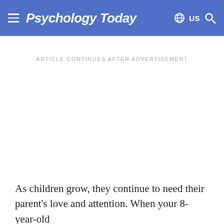Psychology Today
ARTICLE CONTINUES AFTER ADVERTISEMENT
As children grow, they continue to need their parent's love and attention. When your 8-year-old